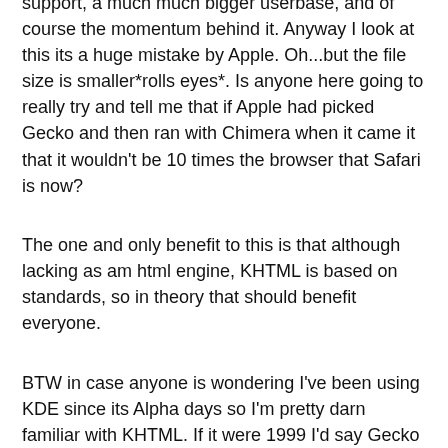support, a much much bigger userbase, and of course the momentum behind it. Anyway I look at this its a huge mistake by Apple. Oh...but the file size is smaller*rolls eyes*. Is anyone here going to really try and tell me that if Apple had picked Gecko and then ran with Chimera when it came it that it wouldn't be 10 times the browser that Safari is now?
The one and only benefit to this is that although lacking as am html engine, KHTML is based on standards, so in theory that should benefit everyone.
BTW in case anyone is wondering I've been using KDE since its Alpha days so I'm pretty darn familiar with KHTML. If it were 1999 I'd say Gecko was overkill and Konq is all you need, but times change and Gecko is just a better engine for the job.